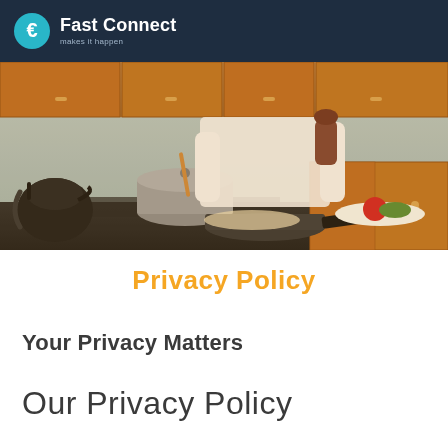Fast Connect — makes it happen
[Figure (photo): Person cooking in a kitchen with pots and pans on a stove, a kettle on the left, and vegetables on the counter]
Privacy Policy
Your Privacy Matters
Our Privacy Policy